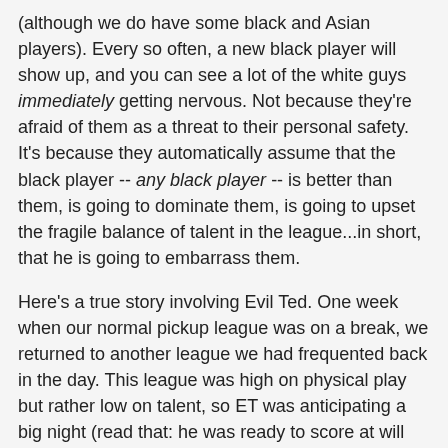(although we do have some black and Asian players). Every so often, a new black player will show up, and you can see a lot of the white guys immediately getting nervous. Not because they're afraid of them as a threat to their personal safety. It's because they automatically assume that the black player -- any black player -- is better than them, is going to dominate them, is going to upset the fragile balance of talent in the league...in short, that he is going to embarrass them.
Here's a true story involving Evil Ted. One week when our normal pickup league was on a break, we returned to another league we had frequented back in the day. This league was high on physical play but rather low on talent, so ET was anticipating a big night (read that: he was ready to score at will while resting liberally on defense). Right before play started, a couple athletic-looking black men showed up. ET groaned and said: "Great. And here I thought it was going to be an easy night."
The funny thing is, turns out neither of them were very good. They were aggressive and talked a lot of trash -- which intimidated some of the other players -- but they couldn't